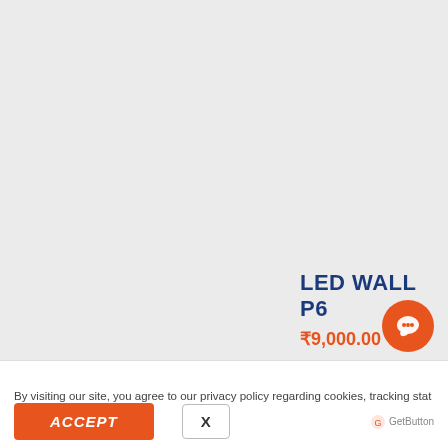LED WALL P6
₹9,000.00
Book Now
By visiting our site, you agree to our privacy policy regarding cookies, tracking stat...
ACCEPT
X
[Figure (logo): GetButton chat widget logo]